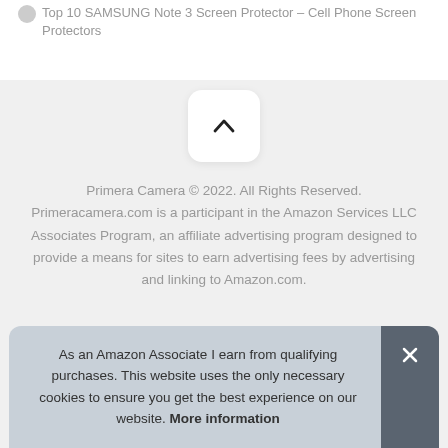Top 10 SAMSUNG Note 3 Screen Protector – Cell Phone Screen Protectors
[Figure (other): Scroll-to-top button with upward chevron arrow icon on white rounded rectangle background]
Primera Camera © 2022. All Rights Reserved. Primeracamera.com is a participant in the Amazon Services LLC Associates Program, an affiliate advertising program designed to provide a means for sites to earn advertising fees by advertising and linking to Amazon.com.
As an Amazon Associate I earn from qualifying purchases. This website uses the only necessary cookies to ensure you get the best experience on our website. More information